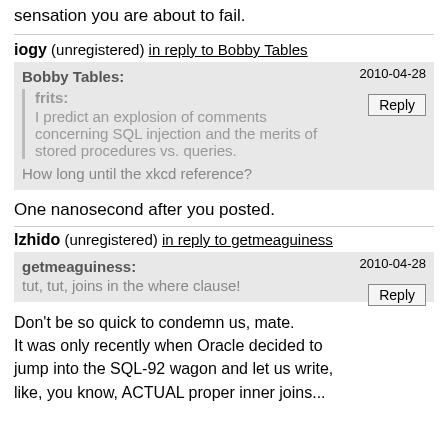sensation you are about to fail.
iogy (unregistered) in reply to Bobby Tables
2010-04-28
Bobby Tables:
frits:
I predict an explosion of comments concerning SQL injection and the merits of stored procedures vs. queries.
How long until the xkcd reference?
Reply
One nanosecond after you posted.
lzhido (unregistered) in reply to getmeaguiness
2010-04-28
getmeaguiness:
tut, tut, joins in the where clause!
Reply
Don't be so quick to condemn us, mate.
It was only recently when Oracle decided to jump into the SQL-92 wagon and let us write, like, you know, ACTUAL proper inner joins...